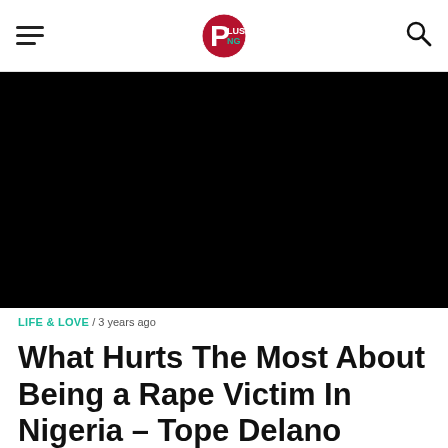PlushNG — navigation bar with hamburger menu, logo, and search icon
[Figure (photo): Black hero image area (dark/empty photo background)]
LIFE & LOVE / 3 years ago
What Hurts The Most About Being a Rape Victim In Nigeria – Tope Delano Writes